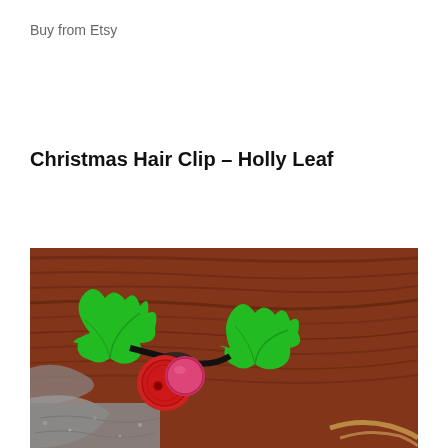Buy from Etsy
Christmas Hair Clip – Holly Leaf
[Figure (photo): Close-up photo of a Christmas hair clip made from green grosgrain ribbon cut into holly leaf shapes, with red buttons arranged as berries, set against a reddish-brown wood grain and grey stone background.]